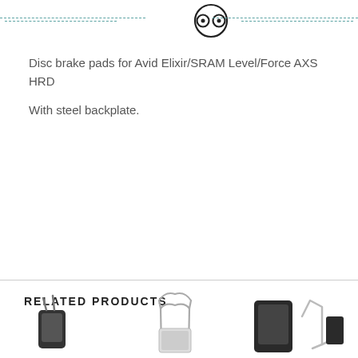[Figure (logo): Circular logo with stylized eyes/goggles icon, flanked by dashed teal horizontal lines on both sides]
Disc brake pads for Avid Elixir/SRAM Level/Force AXS HRD
With steel backplate.
RELATED PRODUCTS
[Figure (photo): Three product photos of disc brake pads shown at bottom of the page]